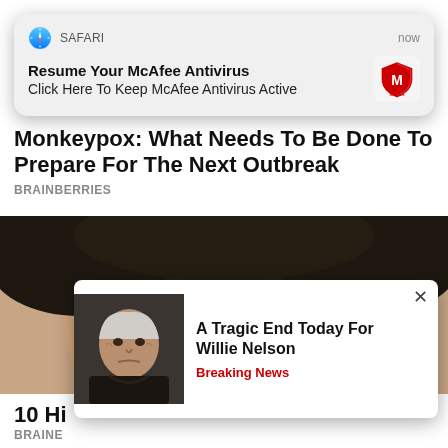[Figure (screenshot): Safari push notification banner: 'Resume Your McAfee Antivirus — Click Here To Keep McAfee Antivirus Active', with McAfee shield logo and timestamp 'now']
Monkeypox: What Needs To Be Done To Prepare For The Next Outbreak
BRAINBERRIES
[Figure (photo): Close-up selfie of a person with short dark hair, thick dark-framed glasses, blue-green eyes, and a pearl earring]
[Figure (screenshot): Ad popup overlay showing an elderly man photo with headline 'A Tragic End Today For Willie Nelson' and tag 'Breaking News', with an X close button]
10 Hi
BRAINE